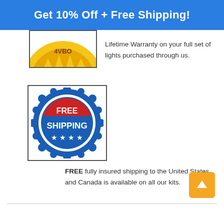Get 10% Off + Free Shipping!
[Figure (logo): Partially visible gold warranty badge/seal at top]
Lifetime Warranty on your full set of lights purchased through us.
[Figure (logo): Free Shipping badge — blue scalloped seal with red top arc reading FREE and white text SHIPPING and four white stars on blue]
FREE fully insured shipping to the United States and Canada is available on all our kits.